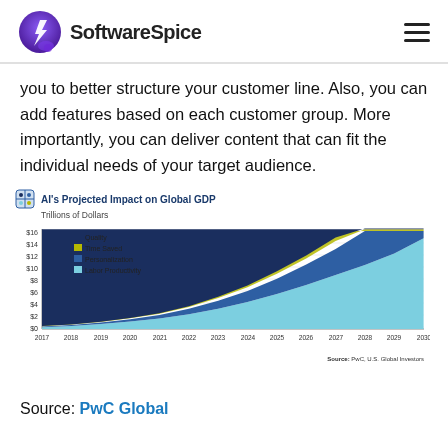SoftwareSpice
you to better structure your customer line. Also, you can add features based on each customer group. More importantly, you can deliver content that can fit the individual needs of your target audience.
[Figure (area-chart): AI's Projected Impact on Global GDP]
Source: PwC Global